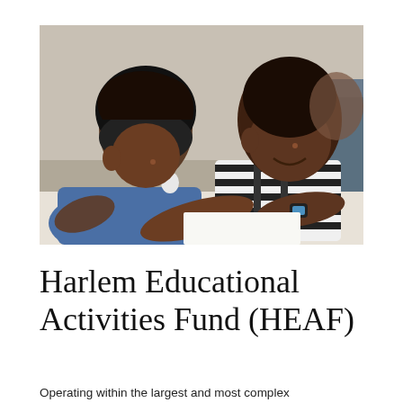[Figure (photo): Two young Black girls leaning over a table together, smiling and looking at something. One wears a black headscarf and blue denim top; the other wears a black and white striped sleeveless top and a fitness watch.]
Harlem Educational Activities Fund (HEAF)
Operating within the largest and most complex